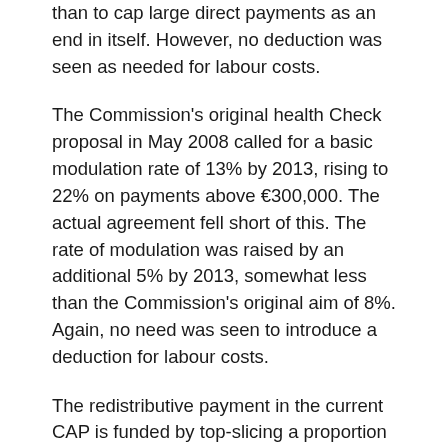than to cap large direct payments as an end in itself. However, no deduction was seen as needed for labour costs.
The Commission's original health Check proposal in May 2008 called for a basic modulation rate of 13% by 2013, rising to 22% on payments above €300,000. The actual agreement fell short of this. The rate of modulation was raised by an additional 5% by 2013, somewhat less than the Commission's original aim of 8%. Again, no need was seen to introduce a deduction for labour costs.
The redistributive payment in the current CAP is funded by top-slicing a proportion of each country's national ceiling for direct payments, which is then recycled back to small and medium-